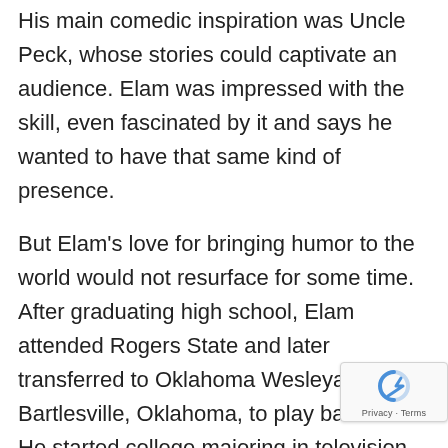His main comedic inspiration was Uncle Peck, whose stories could captivate an audience. Elam was impressed with the skill, even fascinated by it and says he wanted to have that same kind of presence.
But Elam's love for bringing humor to the world would not resurface for some time. After graduating high school, Elam attended Rogers State and later transferred to Oklahoma Wesleyan in Bartlesville, Oklahoma, to play baseball. He started college majoring in television and radio, but changed to music and vocal performance with a minor in religion. After college, Elam became a youth pastor for nearly 12 years.